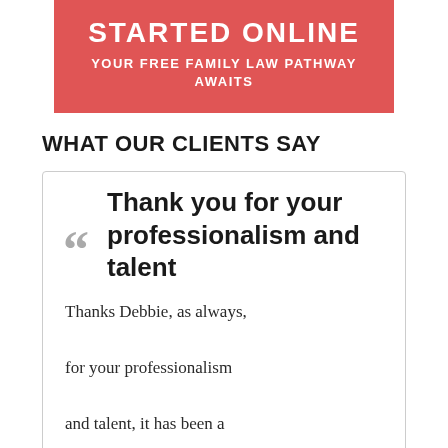[Figure (other): Red/coral banner with text 'STARTED ONLINE YOUR FREE FAMILY LAW PATHWAY AWAITS']
WHAT OUR CLIENTS SAY
Thank you for your professionalism and talent
Thanks Debbie, as always, for your professionalism and talent, it has been a